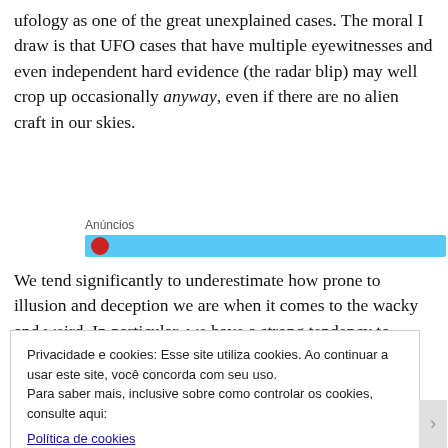ufology as one of the great unexplained cases. The moral I draw is that UFO cases that have multiple eyewitnesses and even independent hard evidence (the radar blip) may well crop up occasionally anyway, even if there are no alien craft in our skies.
[Figure (other): Advertisement block labeled 'Anúncios' with a blue horizontal bar and a red circular element]
We tend significantly to underestimate how prone to illusion and deception we are when it comes to the wacky and weird. In particular, we have a strong tendency to
Privacidade e cookies: Esse site utiliza cookies. Ao continuar a usar este site, você concorda com seu uso. Para saber mais, inclusive sobre como controlar os cookies, consulte aqui: Política de cookies
Fechar e aceitar